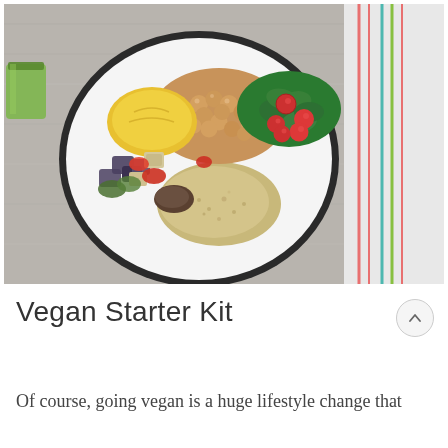[Figure (photo): Overhead view of a vegan meal bowl on a white plate with black rim, containing chickpeas, yellow squash, grilled vegetables (eggplant, zucchini, red peppers, mushrooms), quinoa, and a spinach and cherry tomato salad. A green smoothie jar is visible on the left side. A striped cloth napkin is on the right. The plate is on a gray wooden surface.]
Vegan Starter Kit
Of course, going vegan is a huge lifestyle change that